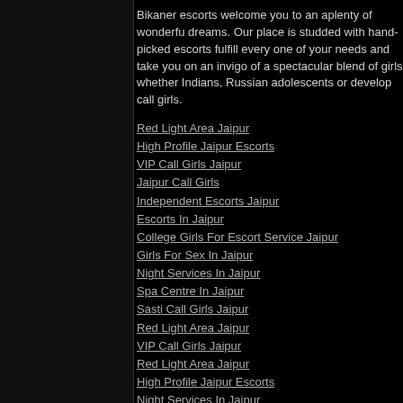Bikaner escorts welcome you to an aplenty of wonderful dreams. Our place is studded with hand-picked escorts fulfill every one of your needs and take you on an invigo of a spectacular blend of girls whether Indians, Russian adolescents or develop call girls.
Red Light Area Jaipur
High Profile Jaipur Escorts
VIP Call Girls Jaipur
Jaipur Call Girls
Independent Escorts Jaipur
Escorts In Jaipur
College Girls For Escort Service Jaipur
Girls For Sex In Jaipur
Night Services In Jaipur
Spa Centre In Jaipur
Sasti Call Girls Jaipur
Red Light Area Jaipur
VIP Call Girls Jaipur
Red Light Area Jaipur
High Profile Jaipur Escorts
Night Services In Jaipur
Sasti Call Girls Jaipur
Jaipur Call Girls
Red Light Area Jaipur
Independent Escorts Jaipur
Girls For Sex In Jaipur
Bikaner, the city of Rajasthan, is known for its few outla